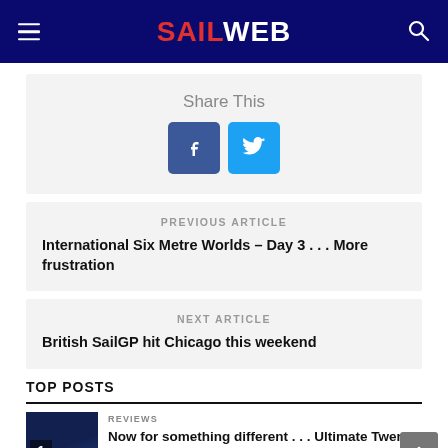SAILWEB
Share This
PREVIOUS ARTICLE
International Six Metre Worlds – Day 3 . . . More frustration
NEXT ARTICLE
British SailGP hit Chicago this weekend
TOP POSTS
REVIEWS
Now for something different . . . Ultimate Twenty